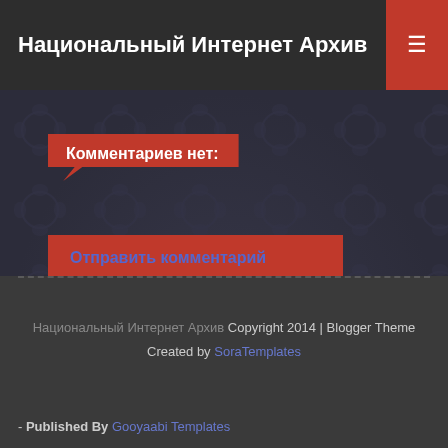Национальный Интернет Архив
Комментариев нет:
Отправить комментарий
‹  Главная страница  ›
Открыть веб-версию:
Национальный Интернет Архив Copyright 2014 | Blogger Theme Created by SoraTemplates - Published By Gooyaabi Templates